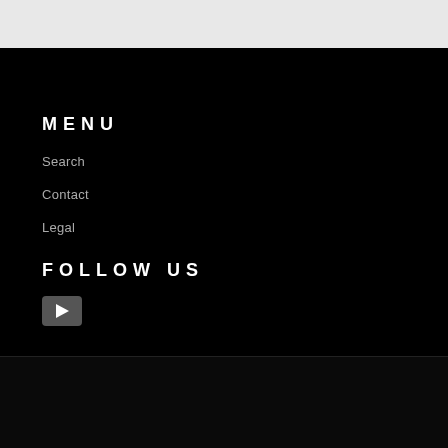MENU
Search
Contact
Legal
FOLLOW US
[Figure (other): YouTube play button icon]
© 2022, Gymini Lifestyle.
[Figure (other): Payment method icons: AMEX, Apple Pay, Discover, Meta, Google Pay, Mastercard, PayPal, OPay, Venmo, Visa]